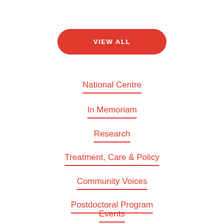VIEW ALL
National Centre
In Memoriam
Research
Treatment, Care & Policy
Community Voices
Postdoctoral Program
Events